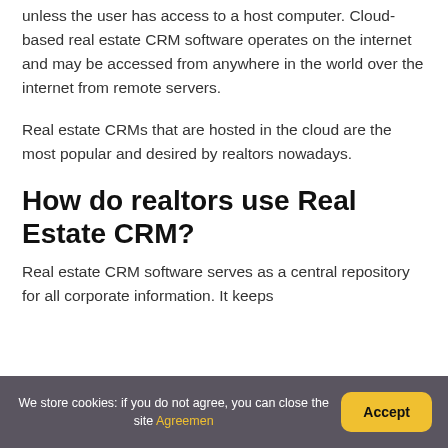unless the user has access to a host computer. Cloud-based real estate CRM software operates on the internet and may be accessed from anywhere in the world over the internet from remote servers.
Real estate CRMs that are hosted in the cloud are the most popular and desired by realtors nowadays.
How do realtors use Real Estate CRM?
Real estate CRM software serves as a central repository for all corporate information. It keeps
We store cookies: if you do not agree, you can close the site Agreemen